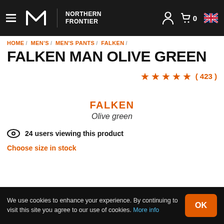Northern Frontier navigation bar with logo, cart, and flag icons
HOME / MEN'S / MEN'S PANTS / FALKEN /
FALKEN MAN OLIVE GREEN
★★★★★ ( 423 )
FALKEN
Olive green
24 users viewing this product
Choose size in stock
We use cookies to enhance your experience. By continuing to visit this site you agree to our use of cookies. More info